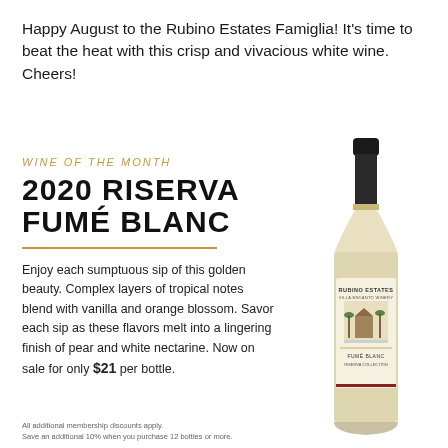Happy August to the Rubino Estates Famiglia! It’s time to beat the heat with this crisp and vivacious white wine. Cheers!
WINE OF THE MONTH
2020 RISERVA FUMÉ BLANC
Enjoy each sumptuous sip of this golden beauty. Complex layers of tropical notes blend with vanilla and orange blossom. Savor each sip as these flavors melt into a lingering finish of pear and white nectarine. Now on sale for only $21 per bottle.
[Figure (photo): Wine bottle of Rubino Estates 2020 Riserva Fumé Blanc with label showing estate building and palm trees]
All additional membership discounts apply.
Save an additional 10% when you purchase 12 bottles or more.